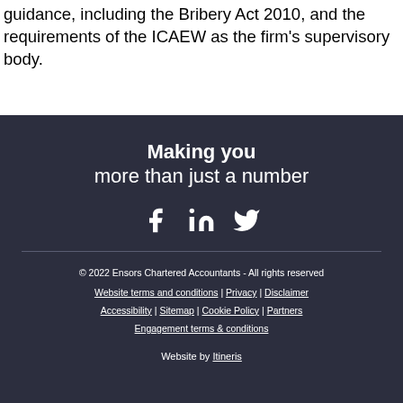guidance, including the Bribery Act 2010, and the requirements of the ICAEW as the firm's supervisory body.
Making you
more than just a number
[Figure (illustration): Social media icons: Facebook, LinkedIn, Twitter]
© 2022 Ensors Chartered Accountants - All rights reserved
Website terms and conditions | Privacy | Disclaimer
Accessibility | Sitemap | Cookie Policy | Partners
Engagement terms & conditions
Website by Itineris